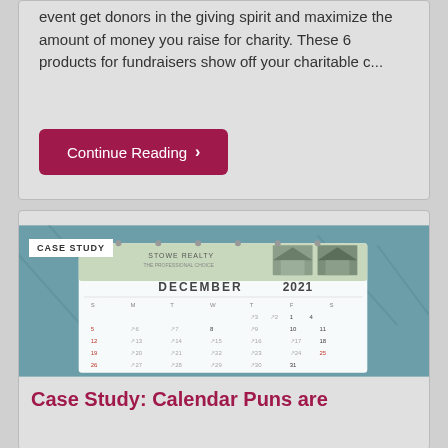event get donors in the giving spirit and maximize the amount of money you raise for charity. These 6 products for fundraisers show off your charitable c...
Continue Reading ›
[Figure (photo): A December 2021 desk calendar for Stowe Realty with house photos at the top, labeled CASE STUDY in the corner]
Case Study: Calendar Puns are